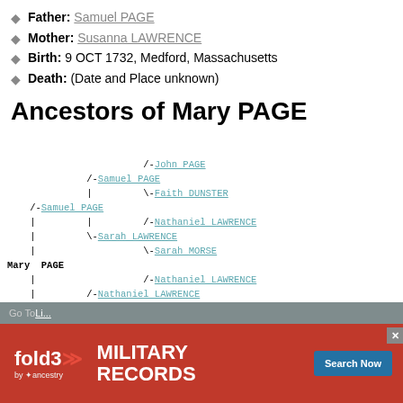Father: Samuel PAGE
Mother: Susanna LAWRENCE
Birth: 9 OCT 1732, Medford, Massachusetts
Death: (Date and Place unknown)
Ancestors of Mary PAGE
[Figure (other): Genealogical ancestor tree for Mary PAGE showing ancestors: Samuel PAGE (father), Susanna LAWRENCE (mother), and their parents: John PAGE, Faith DUNSTER, Nathaniel LAWRENCE, Sarah MORSE, Nathaniel LAWRENCE, Sarah MORSE, Annah RUTTER]
Go To List...